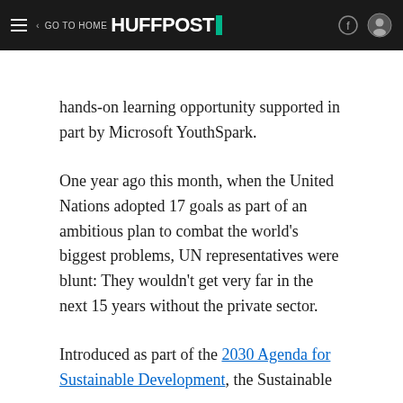GO TO HOME | HUFFPOST
hands-on learning opportunity supported in part by Microsoft YouthSpark.
One year ago this month, when the United Nations adopted 17 goals as part of an ambitious plan to combat the world's biggest problems, UN representatives were blunt: They wouldn't get very far in the next 15 years without the private sector.
Introduced as part of the 2030 Agenda for Sustainable Development, the Sustainable